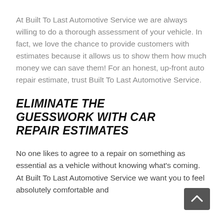At Built To Last Automotive Service we are always willing to do a thorough assessment of your vehicle. In fact, we love the chance to provide customers with estimates because it allows us to show them how much money we can save them! For an honest, up-front auto repair estimate, trust Built To Last Automotive Service.
ELIMINATE THE GUESSWORK WITH CAR REPAIR ESTIMATES
No one likes to agree to a repair on something as essential as a vehicle without knowing what's coming. At Built To Last Automotive Service we want you to feel absolutely comfortable and